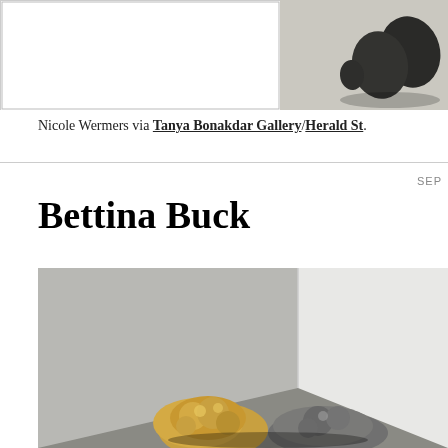[Figure (photo): Left portion showing a white/blank artwork or panel on a white background with gray border]
[Figure (photo): Right portion showing dark circular disc-like sculptures on a light floor, partially cropped]
Nicole Wermers via Tanya Bonakdar Gallery/Herald St.
SEP
Bettina Buck
[Figure (photo): Close-up photo of a bronze/gold sculptural object with organic lumpy forms placed in a corner where two white walls meet a gray floor]